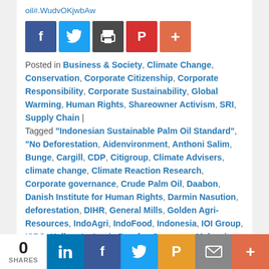oil#.WudvOKjwbAw
[Figure (infographic): Social sharing buttons: Facebook (blue), Twitter (light blue), Print (dark gray), Pinterest (red), Add (orange-red)]
Posted in Business & Society, Climate Change, Conservation, Corporate Citizenship, Corporate Responsibility, Corporate Sustainability, Global Warming, Human Rights, Shareowner Activism, SRI, Supply Chain | Tagged "Indonesian Sustainable Palm Oil Standard", "No Deforestation, Aidenvironment, Anthoni Salim, Bunge, Cargill, CDP, Citigroup, Climate Advisers, climate change, Climate Reaction Research, Corporate governance, Crude Palm Oil, Daabon, Danish Institute for Human Rights, Darmin Nasution, deforestation, DIHR, General Mills, Golden Agri-Resources, IndoAgri, IndoFood, Indonesia, IOI Group, ISPO, Kellogg's, Louis Dreyfus Company, Malaysia, Mars, Mondelez International, Nestle's, No Peat", NPDE, Palm Oil, PepsiCo, Procter & Gamble, Profundo, PT Duta Rendra, PT Sawit Khatulistiwa Lestan, Rainforest Action Network Foundation Norway, Rainforest Alliance Network, Roundtable on Sustainable Palm Oil, SumofUS, Sustainability, The Forest Trust, Unilever, Union of
[Figure (infographic): Bottom share bar: 0 SHARES counter, LinkedIn (blue), Facebook (dark blue), Twitter (light blue), Pocket/P (orange), Email (gray), More/+ (red-orange)]